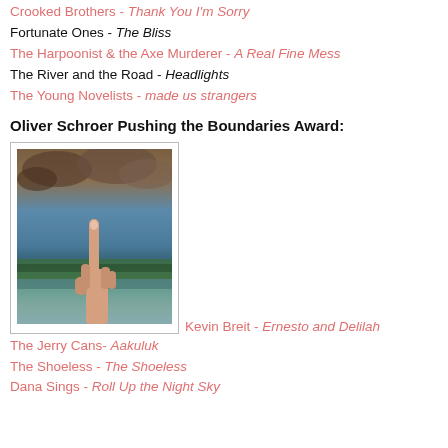Crooked Brothers - Thank You I'm Sorry
Fortunate Ones - The Bliss
The Harpoonist & the Axe Murderer - A Real Fine Mess
The River and the Road - Headlights
The Young Novelists - made us strangers
Oliver Schroer Pushing the Boundaries Award:
[Figure (photo): Album cover photo showing a hand pointing upward against a sky and forest landscape with rocky overhead reflection]
Kevin Breit - Ernesto and Delilah
The Jerry Cans- Aakuluk
The Shoeless - The Shoeless
Dana Sings - Roll Up the Night Sky